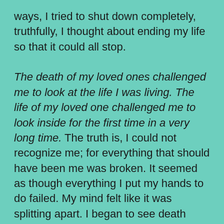ways, I tried to shut down completely, truthfully, I thought about ending my life so that it could all stop.

The death of my loved ones challenged me to look at the life I was living. The life of my loved one challenged me to look inside for the first time in a very long time. The truth is, I could not recognize me; for everything that should have been me was broken. It seemed as though everything I put my hands to do failed. My mind felt like it was splitting apart. I began to see death everywhere I went. Much more than that, I began to fear life and living itself. What was a future? Why would anyone want it if all it had was pain? What if I got a chance to live and my life amounted to nothing? Who would